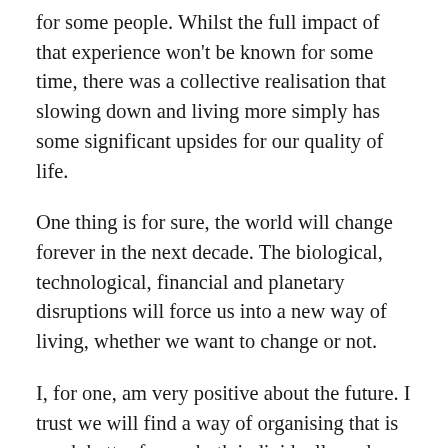for some people. Whilst the full impact of that experience won't be known for some time, there was a collective realisation that slowing down and living more simply has some significant upsides for our quality of life.
One thing is for sure, the world will change forever in the next decade. The biological, technological, financial and planetary disruptions will force us into a new way of living, whether we want to change or not.
I, for one, am very positive about the future. I trust we will find a way of organising that is much better for us, both individually and collectively. We will find ways to live well that are highly progressive, from both a planetary and human perspective.